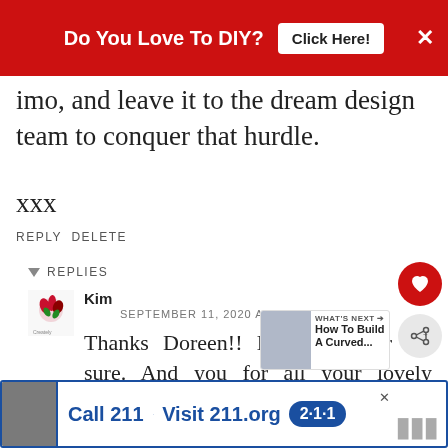[Figure (other): Red advertisement banner at top: 'Do You Love To DIY? Click Here!' with X close button]
imo, and leave it to the dream design team to conquer that hurdle.
xxx
REPLY DELETE
REPLIES
Kim
SEPTEMBER 11, 2020 AT 10:35 AM
Thanks Doreen!! He's a keeper for sure. And you for all your lovely comments about the space.
[Figure (other): Bottom advertisement banner: Call 211 | Visit 211.org with 2-1-1 badge logo]